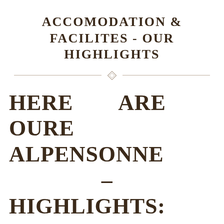ACCOMODATION & FACILITES - OUR HIGHLIGHTS
HERE ARE OURE ALPENSONNE – HIGHLIGHTS:
quiet and sunny location offering wonderful views